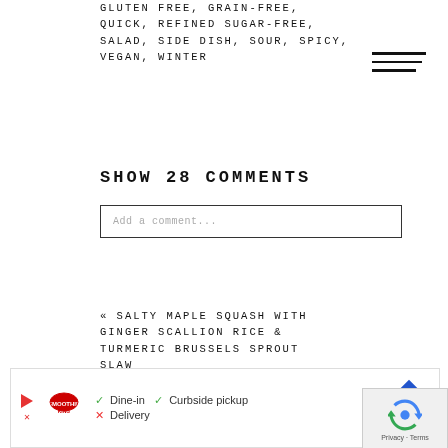GLUTEN FREE, GRAIN-FREE, QUICK, REFINED SUGAR-FREE, SALAD, SIDE DISH, SOUR, SPICY, VEGAN, WINTER
SHOW 28 COMMENTS
Add a comment...
« SALTY MAPLE SQUASH WITH GINGER SCALLION RICE & TURMERIC BRUSSELS SPROUT SLAW
GARLIC PEPPER SOBA WITH CHILI ROASTED TOFU & MY VEGETABLE STOCK METHOD »
[Figure (other): Advertisement banner for Smoothie King showing play button, logo, dine-in/curbside pickup/delivery info, and navigation arrow]